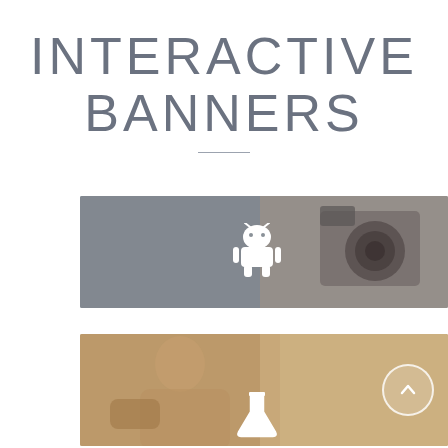INTERACTIVE BANNERS
[Figure (illustration): Banner with dark muted overlay showing a person holding a camera, with a white Android robot icon in the center]
[Figure (illustration): Banner with warm muted overlay showing a person sitting, with a white flask/science icon at the bottom center and a circular arrow-up button on the right]